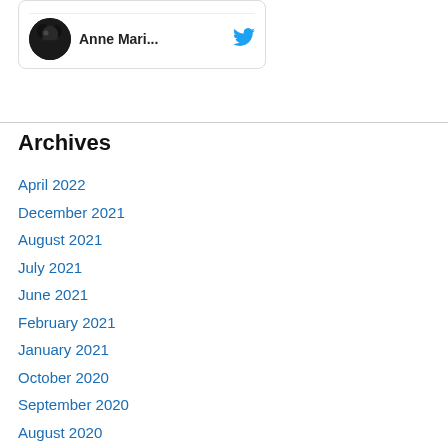[Figure (screenshot): Twitter widget card showing user Anne Mari... with avatar and Twitter bird icon]
Archives
April 2022
December 2021
August 2021
July 2021
June 2021
February 2021
January 2021
October 2020
September 2020
August 2020
June 2020
May 2020
April 2020
March 2020